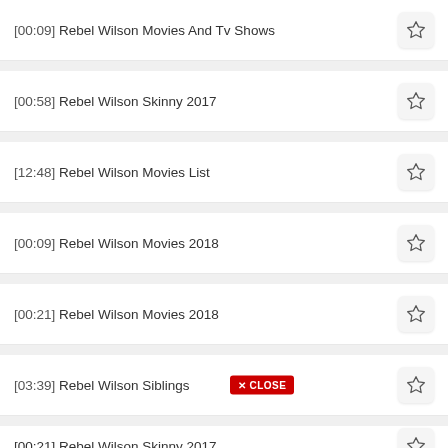[00:09] Rebel Wilson Movies And Tv Shows
[00:58] Rebel Wilson Skinny 2017
[12:48] Rebel Wilson Movies List
[00:09] Rebel Wilson Movies 2018
[00:21] Rebel Wilson Movies 2018
[03:39] Rebel Wilson Siblings
[00:21] Rebel Wilson Skinny 2017